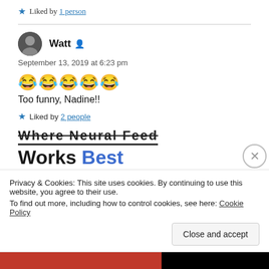★ Liked by 1 person
Watt
September 13, 2019 at 6:23 pm
😂😂😂😂😂
Too funny, Nadine!!
★ Liked by 2 people
[Figure (screenshot): Ad banner partially visible: '...Where Neural Feed Works Best' with 'SEE PRICING' button]
Privacy & Cookies: This site uses cookies. By continuing to use this website, you agree to their use.
To find out more, including how to control cookies, see here: Cookie Policy
Close and accept